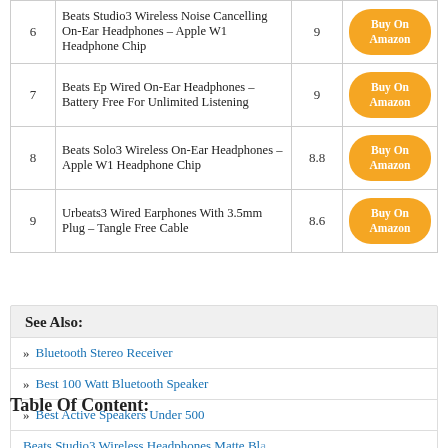| # | Product | Score | Link |
| --- | --- | --- | --- |
| 6 | Beats Studio3 Wireless Noise Cancelling On-Ear Headphones – Apple W1 Headphone Chip | 9 | Buy On Amazon |
| 7 | Beats Ep Wired On-Ear Headphones – Battery Free For Unlimited Listening | 9 | Buy On Amazon |
| 8 | Beats Solo3 Wireless On-Ear Headphones – Apple W1 Headphone Chip | 8.8 | Buy On Amazon |
| 9 | Urbeats3 Wired Earphones With 3.5mm Plug – Tangle Free Cable | 8.6 | Buy On Amazon |
See Also:
Bluetooth Stereo Receiver
Best 100 Watt Bluetooth Speaker
Best Active Speakers Under 500
Table Of Content:
Beats Studio3 Wireless Headphones Matte Black